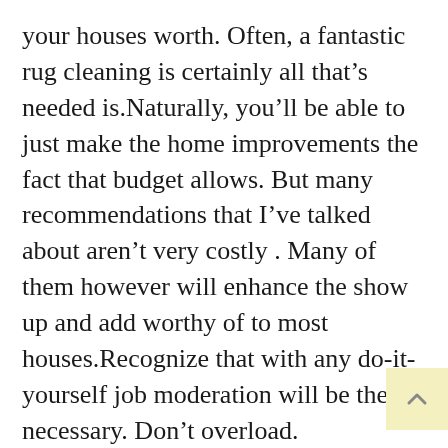your houses worth. Often, a fantastic rug cleaning is certainly all that's needed is.Naturally, you'll be able to just make the home improvements the fact that budget allows. But many recommendations that I've talked about aren't very costly . Many of them however will enhance the show up and add worthy of to most houses.Recognize that with any do-it-yourself job moderation will be the necessary. Don't overload. Concentrate on improving several areas in your own home which need essentially the most work.